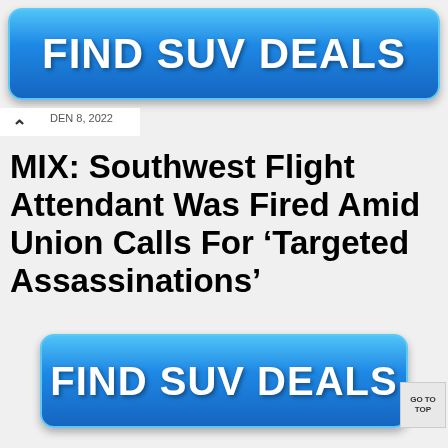[Figure (other): Blue rounded rectangle advertisement banner with bold white text reading FIND SUV DEALS]
DEN 8, 2022
MIX: Southwest Flight Attendant Was Fired Amid Union Calls For ‘Targeted Assassinations’
[Figure (other): Blue rounded rectangle advertisement banner with bold white text reading FIND SUV DEALS]
GO TO TOP